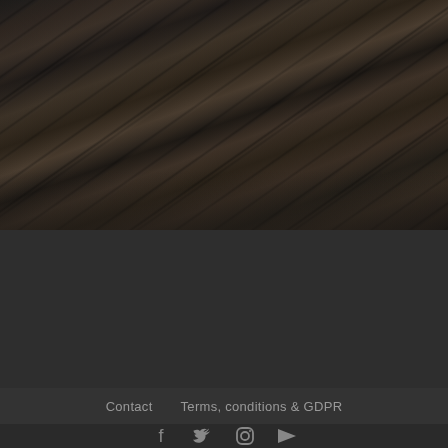[Figure (photo): Dark wooden deck/planks photographed at an angle, dark brown/charcoal tones, planks running diagonally from top-left to bottom-right]
Contact   Terms, conditions & GDPR
[Figure (other): Social media icons: Facebook, Twitter, Instagram, RSS feed icons in gray on dark background]